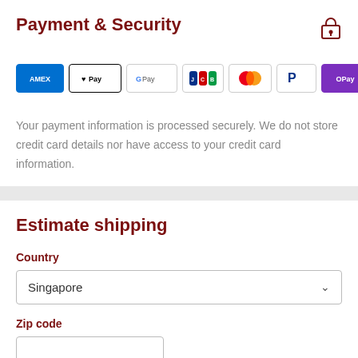Payment & Security
[Figure (infographic): Payment method logos: AMEX, Apple Pay, Google Pay, JCB, Mastercard, PayPal, OPay, VISA]
Your payment information is processed securely. We do not store credit card details nor have access to your credit card information.
Estimate shipping
Country
Singapore
Zip code